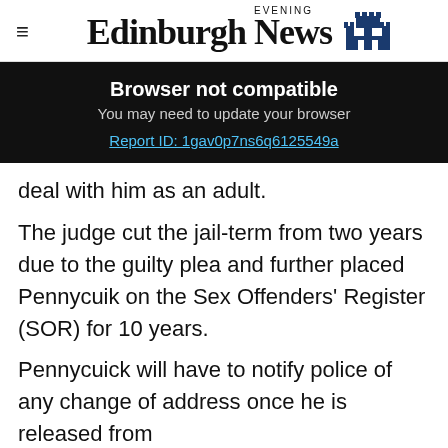Edinburgh Evening News
[Figure (screenshot): Browser not compatible banner overlay with dark background. Title: 'Browser not compatible'. Subtitle: 'You may need to update your browser'. Link: 'Report ID: 1gav0p7ns6q6125549a']
deal with him as an adult.
The judge cut the jail-term from two years due to the guilty plea and further placed Pennycuik on the Sex Offenders’ Register (SOR) for 10 years.
Pennycuick will have to notify police of any change of address once he is released from